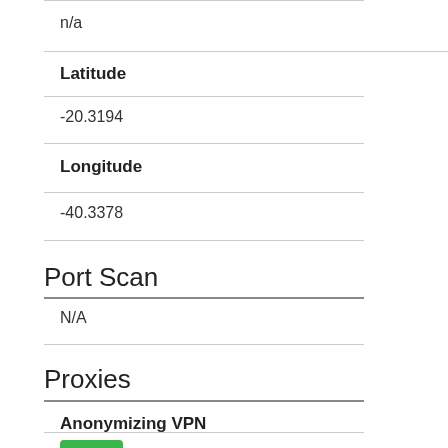n/a
Latitude
-20.3194
Longitude
-40.3378
Port Scan
N/A
Proxies
Anonymizing VPN
No